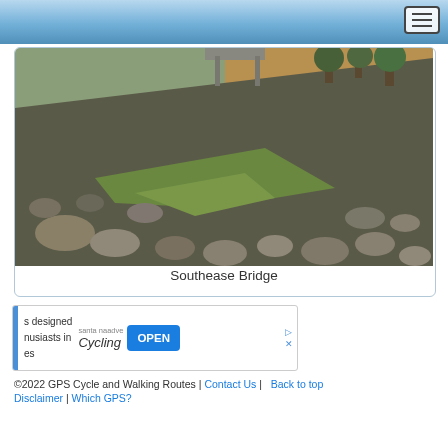[Figure (photo): Rocky riverbank with muddy brown water visible in the background. Foreground shows large grey rocks and gravel with some green grass patches on a sloped embankment. Trees visible in far background.]
Southease Bridge
[Figure (screenshot): Advertisement banner: text reads 's designed nusiasts in es' on left, then 'santa naadve' site name with 'Cycling' text and an 'OPEN' button in blue]
©2022 GPS Cycle and Walking Routes | Contact Us | Back to top Disclaimer | Which GPS?